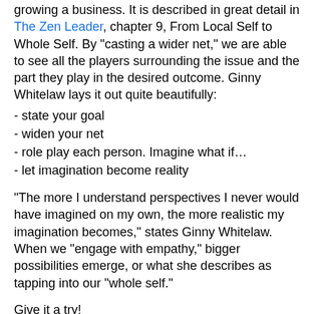growing a business. It is described in great detail in The Zen Leader, chapter 9, From Local Self to Whole Self. By "casting a wider net," we are able to see all the players surrounding the issue and the part they play in the desired outcome. Ginny Whitelaw lays it out quite beautifully:
- state your goal
- widen your net
- role play each person. Imagine what if…
- let imagination become reality
"The more I understand perspectives I never would have imagined on my own, the more realistic my imagination becomes," states Ginny Whitelaw. When we "engage with empathy," bigger possibilities emerge, or what she describes as tapping into our "whole self."
Give it a try!
more
Topics: role playing, the zen leader, Ginny Whitelaw, whole self
All posts